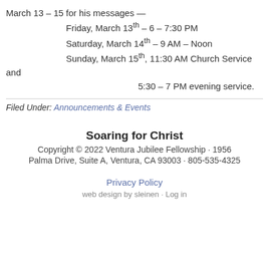March 13 – 15 for his messages —
    Friday, March 13th – 6 – 7:30 PM
    Saturday, March 14th – 9 AM – Noon
    Sunday, March 15th, 11:30 AM Church Service
and
            5:30 – 7 PM evening service.
Filed Under: Announcements & Events
Soaring for Christ
Copyright © 2022 Ventura Jubilee Fellowship · 1956 Palma Drive, Suite A, Ventura, CA 93003 · 805-535-4325
Privacy Policy
web design by sleinen · Log in